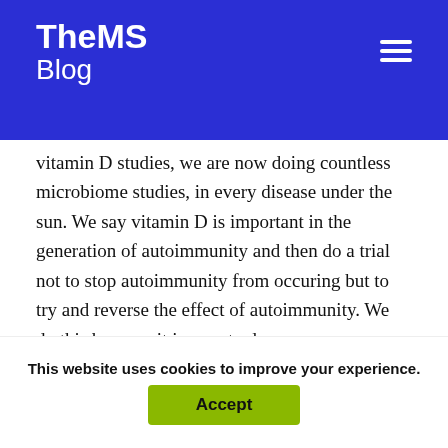TheMS Blog
vitamin D studies, we are now doing countless microbiome studies, in every disease under the sun. We say vitamin D is important in the generation of autoimmunity and then do a trial not to stop autoimmunity from occuring but to try and reverse the effect of autoimmunity. We do this because it is easy to do.
However, the biology suppports the idea that it may protect you from autoimmunity. So we
This website uses cookies to improve your experience.